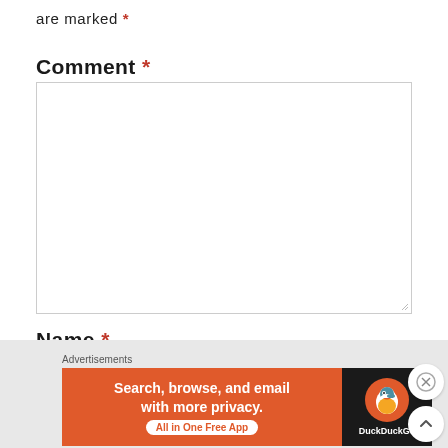are marked *
Comment *
[Figure (screenshot): Empty comment text area input box with resize handle at bottom right]
Name *
[Figure (screenshot): Empty name text input field]
Advertisements
[Figure (other): DuckDuckGo advertisement banner: Search, browse, and email with more privacy. All in One Free App. DuckDuckGo logo on dark background.]